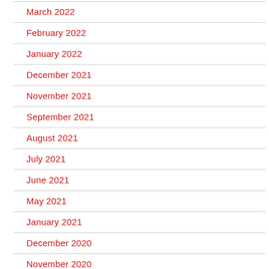March 2022
February 2022
January 2022
December 2021
November 2021
September 2021
August 2021
July 2021
June 2021
May 2021
January 2021
December 2020
November 2020